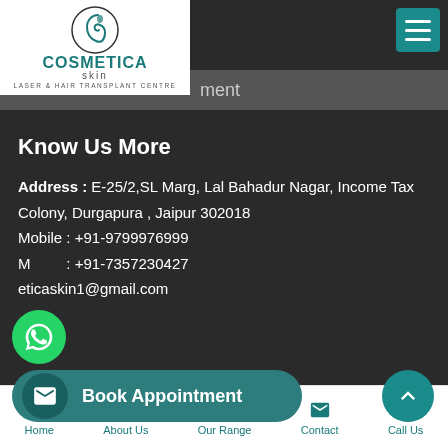[Figure (logo): Cosmetica Skin Laser & Hair Transplant Centre logo with circular face icon]
ment
Know Us More
Address : E-25/2,SL Marg, Lal Bahadur Nagar, Income Tax Colony, Durgapura , Jaipur 302018
Mobile : +91-9799976999
Mobile : +91-7357230427
cosmeticaskin1@gmail.com
Book Appointment
Home   About Us   Our Range   Contact   Call Us